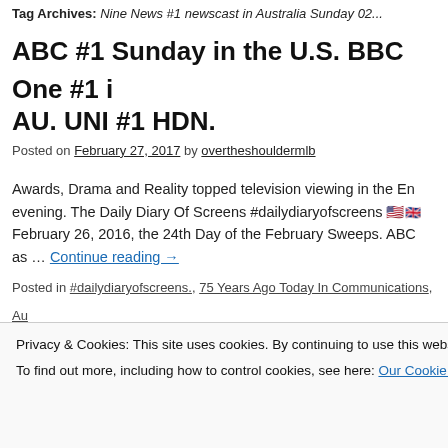Tag Archives: Nine News #1 newscast in Australia Sunday 02...
ABC #1 Sunday in the U.S. BBC One #1 in AU. UNI #1 HDN.
Posted on February 27, 2017 by overtheshouldermlb
Awards, Drama and Reality topped television viewing in the En... evening. The Daily Diary Of Screens #dailydiaryofscreens 🇺🇸🇬🇧 February 26, 2016, the 24th Day of the February Sweeps. ABC ... as … Continue reading →
Posted in #dailydiaryofscreens., 75 Years Ago Today In Communications, Au... Audience Management, Broadcast TV Ratings in Australia, Broadcast TV Ra... US, Cable TV Ratings, Cinema, Daily Australian TV Ratings, Daily Broadcast... TV Cable Ratings, Daily TV Ratings in Argentina, Daily TV Ratings in Colomb... Ratings in Peru, Daily UK TV Ratings, Data, Digital, Direct, Hispanic TV Ratin...
Privacy & Cookies: This site uses cookies. By continuing to use this website, you agree to their use. To find out more, including how to control cookies, see here: Our Cookie Policy